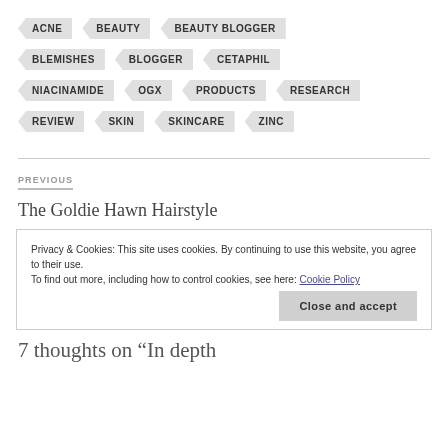ACNE
BEAUTY
BEAUTY BLOGGER
BLEMISHES
BLOGGER
CETAPHIL
NIACINAMIDE
OGX
PRODUCTS
RESEARCH
REVIEW
SKIN
SKINCARE
ZINC
PREVIOUS
The Goldie Hawn Hairstyle
Privacy & Cookies: This site uses cookies. By continuing to use this website, you agree to their use.
To find out more, including how to control cookies, see here: Cookie Policy
Close and accept
7 thoughts on “In depth